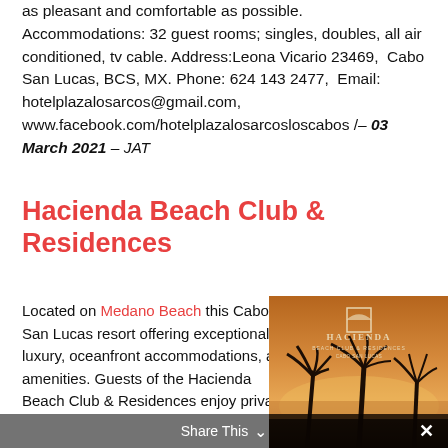as pleasant and comfortable as possible. Accommodations: 32 guest rooms; singles, doubles, all air conditioned, tv cable. Address:Leona Vicario 23469,  Cabo San Lucas, BCS, MX. Phone: 624 143 2477,  Email: hotelplazalosarcos@gmail.com,  www.facebook.com/hotelplazalosarcosloscabos /– 03 March 2021 – JAT
Hacienda Beach Club & Residences
Located on Medano Beach this Cabo San Lucas resort offering exceptional luxury, oceanfront accommodations, and amenities. Guests of the Hacienda Beach Club & Residences enjoy private
[Figure (photo): Hacienda Beach Club & Residences logo and photo showing palm trees silhouetted against a sunset with the ocean in the background.]
Share This